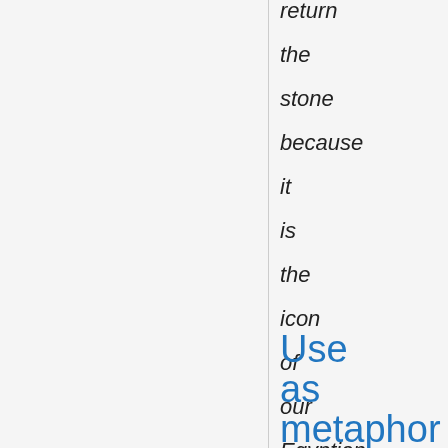return the stone because it is the icon of our Egyptian identity.
Use as metaphor